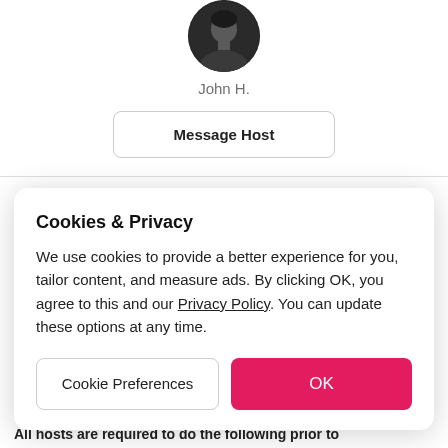[Figure (photo): Circular avatar photo of host John H., black and white portrait]
John H.
Message Host
Cookies & Privacy
We use cookies to provide a better experience for you, tailor content, and measure ads. By clicking OK, you agree to this and our Privacy Policy. You can update these options at any time.
Cookie Preferences
OK
All hosts are required to do the following prior to